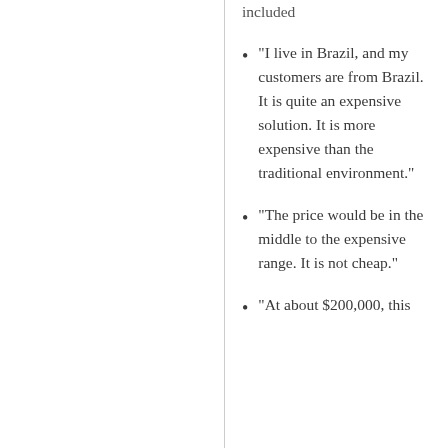included
"I live in Brazil, and my customers are from Brazil. It is quite an expensive solution. It is more expensive than the traditional environment."
"The price would be in the middle to the expensive range. It is not cheap."
"At about $200,000, this